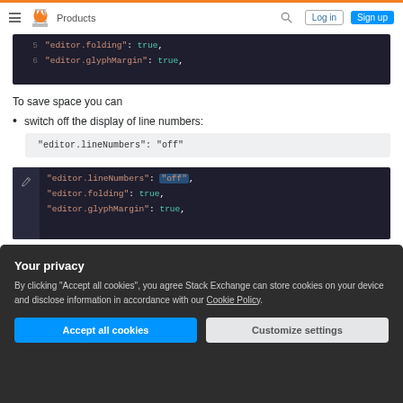Stack Overflow navigation bar with hamburger menu, logo, Products, search, Log in, Sign up
[Figure (screenshot): Dark code editor showing lines 5-6: "editor.folding": true, "editor.glyphMargin": true]
To save space you can
switch off the display of line numbers:
[Figure (screenshot): Light gray code block showing: "editor.lineNumbers": "off"]
[Figure (screenshot): Dark code editor showing: "editor.lineNumbers": "off", "editor.folding": true, "editor.glyphMargin": true, with "off" highlighted]
Your privacy
By clicking "Accept all cookies", you agree Stack Exchange can store cookies on your device and disclose information in accordance with our Cookie Policy.